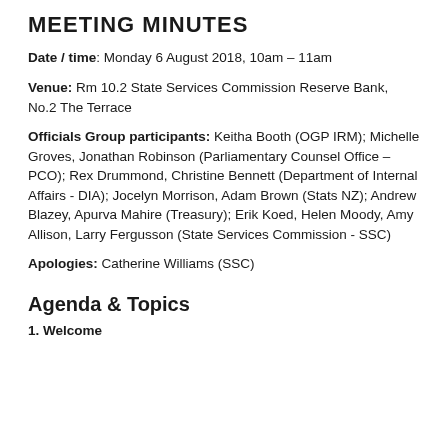MEETING MINUTES
Date / time: Monday 6 August 2018, 10am – 11am
Venue: Rm 10.2 State Services Commission Reserve Bank, No.2 The Terrace
Officials Group participants: Keitha Booth (OGP IRM); Michelle Groves, Jonathan Robinson (Parliamentary Counsel Office – PCO); Rex Drummond, Christine Bennett (Department of Internal Affairs - DIA); Jocelyn Morrison, Adam Brown (Stats NZ); Andrew Blazey, Apurva Mahire (Treasury); Erik Koed, Helen Moody, Amy Allison, Larry Fergusson (State Services Commission - SSC)
Apologies: Catherine Williams (SSC)
Agenda & Topics
1. Welcome